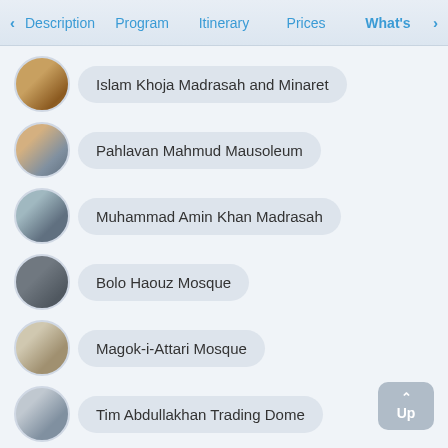‹ Description   Program   Itinerary   Prices   What's ›
Islam Khoja Madrasah and Minaret
Pahlavan Mahmud Mausoleum
Muhammad Amin Khan Madrasah
Bolo Haouz Mosque
Magok-i-Attari Mosque
Tim Abdullakhan Trading Dome
Sitorai Mohi Hosa - Emir's Summer Palace
Registan Square
Shah-i-Zinda Necropolis